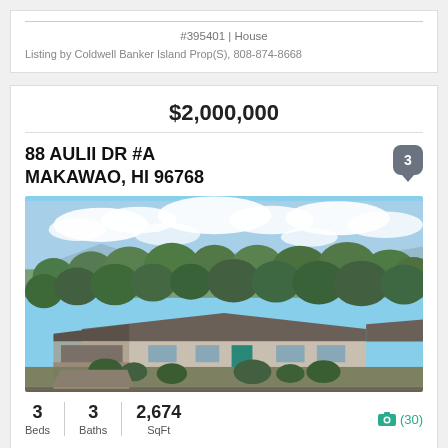#395401 | House
Listing by Coldwell Banker Island Prop(S), 808-874-8668
$2,000,000
88 AULII DR #A
MAKAWAO, HI 96768
[Figure (photo): Aerial view of a single-story house with dark roof surrounded by tropical trees and vegetation, with mountains and cloudy sky in the background, Makawao, Hawaii]
3 Beds   3 Baths   2,674 SqFt   (30)